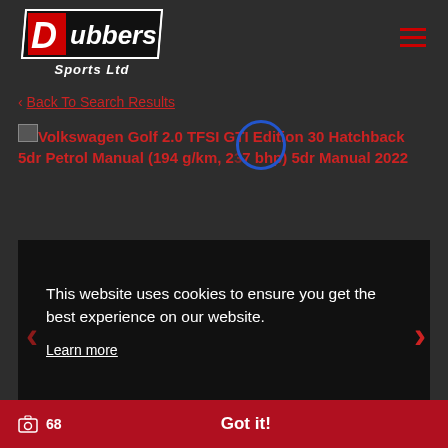[Figure (logo): Dubbers Sports Ltd logo - white and red stylized D with 'ubbers' text on dark parallelogram background]
‹ Back To Search Results
Volkswagen Golf 2.0 TFSI GTI Edition 30 Hatchback 5dr Petrol Manual (194 g/km, 237 bhp) 5dr Manual 2022
This website uses cookies to ensure you get the best experience on our website.
Learn more
Got it!
68